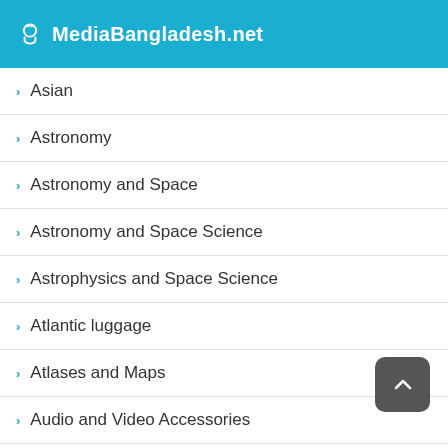MediaBangladesh.net
Asian
Astronomy
Astronomy and Space
Astronomy and Space Science
Astrophysics and Space Science
Atlantic luggage
Atlases and Maps
Audio and Video Accessories
Australia
Authors